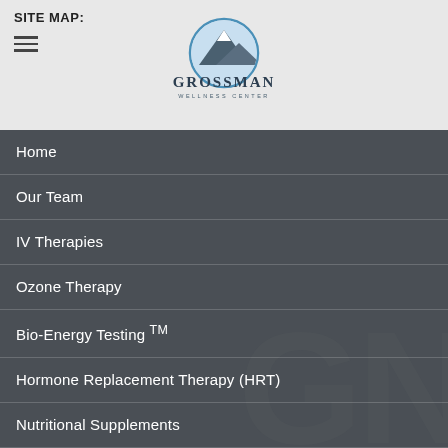SITE MAP:
[Figure (logo): Grossman Wellness Center logo with mountain peak icon and text 'GROSSMAN WELLNESS CENTER']
Home
Our Team
IV Therapies
Ozone Therapy
Bio-Energy Testing ™
Hormone Replacement Therapy (HRT)
Nutritional Supplements
Longevity Evaluation
Low-Level Laser Therapy
Blog